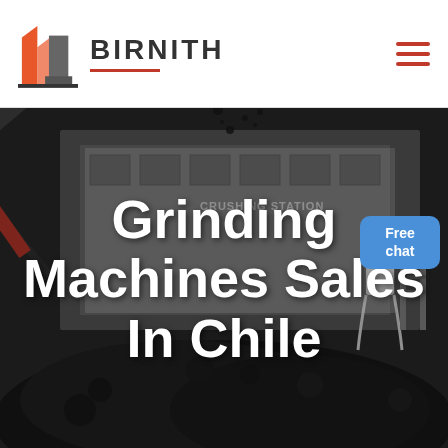[Figure (photo): Industrial crushing/grinding machine (crushing station) with conveyor belts and a large pile of black coal/rocks in the background. Dark moody industrial scene.]
[Figure (logo): Birnith logo: orange/red building icon with two overlapping rectangles and a grey square, beside the text BIRNITH in bold grey letters with a red underline.]
Grinding Machines Sales In Chile
[Figure (illustration): Free chat button: blue rounded rectangle with white text reading 'Free chat', with a small customer service avatar figure to the left.]